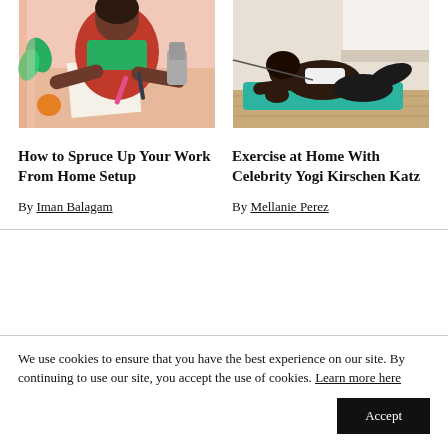[Figure (illustration): Illustration of a woman with brown skin and dark hair sitting at a desk with notebooks, pens, a moka pot, and plants in a stylized flat art style with warm colors.]
[Figure (photo): Photo of a Black woman in a white sports bra and black leggings doing a yoga pose (low lunge/cat-cow) on a blue mat on a wooden floor with a bed in the background.]
How to Spruce Up Your Work From Home Setup
By Iman Balagam
Exercise at Home With Celebrity Yogi Kirschen Katz
By Mellanie Perez
We use cookies to ensure that you have the best experience on our site. By continuing to use our site, you accept the use of cookies. Learn more here